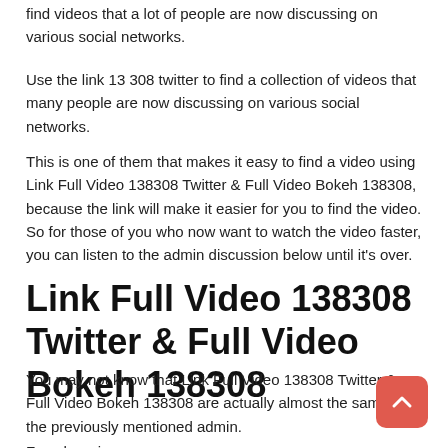find videos that a lot of people are now discussing on various social networks.
Use the link 13 308 twitter to find a collection of videos that many people are now discussing on various social networks.
This is one of them that makes it easy to find a video using Link Full Video 138308 Twitter & Full Video Bokeh 138308, because the link will make it easier for you to find the video. So for those of you who now want to watch the video faster, you can listen to the admin discussion below until it's over.
Link Full Video 138308 Twitter & Full Video Bokeh 138308
You may not know that Link Full Video 138308 Twitter & Full Video Bokeh 138308 are actually almost the same as the previously mentioned admin.
For where in the discussion the previous admin mentioned Link Video Bokeh Full Bokeh Lights Bokeh Video HD Simontok Apk No VPN